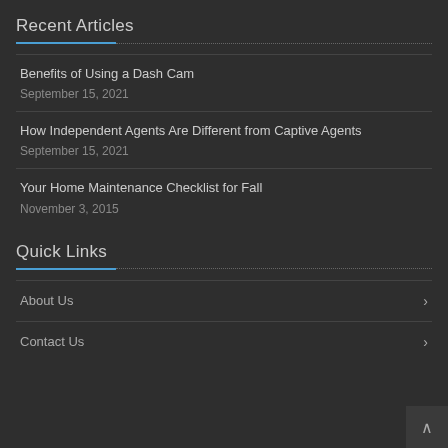Recent Articles
Benefits of Using a Dash Cam
September 15, 2021
How Independent Agents Are Different from Captive Agents
September 15, 2021
Your Home Maintenance Checklist for Fall
November 3, 2015
Quick Links
About Us
Contact Us